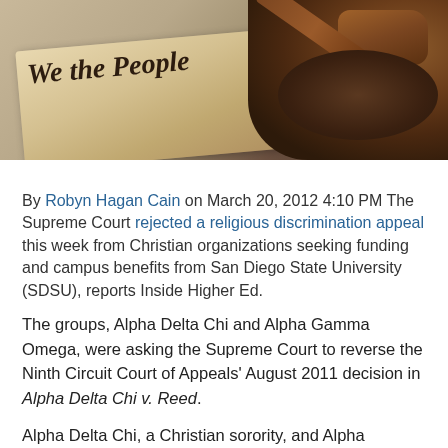[Figure (photo): Photo of a 'We the People' parchment document (US Constitution) alongside a wooden judge's gavel on a dark surface]
By Robyn Hagan Cain on March 20, 2012 4:10 PM The Supreme Court rejected a religious discrimination appeal this week from Christian organizations seeking funding and campus benefits from San Diego State University (SDSU), reports Inside Higher Ed.
The groups, Alpha Delta Chi and Alpha Gamma Omega, were asking the Supreme Court to reverse the Ninth Circuit Court of Appeals' August 2011 decision in Alpha Delta Chi v. Reed.
Alpha Delta Chi, a Christian sorority, and Alpha Gamma Omega, a Christian fraternity, have several religious requirements, including a "personal acceptance of Jesus Christ as Savior and Lord." Both groups have repeatedly